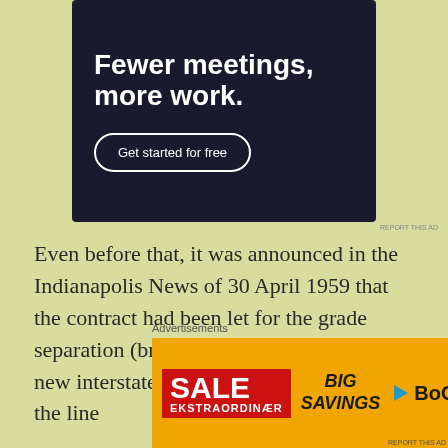[Figure (other): Advertisement banner with dark background showing 'Fewer meetings, more work.' headline and 'Get started for free' button]
Even before that, it was announced in the Indianapolis News of 30 April 1959 that the contract had been let for the grade separation (bridge) for 34th Street over the new interstate. What is of particular note is the line
[Figure (other): Bottom advertisement banner with orange background showing SALE EKSTRAORDINÆR in red box, BIG SAVINGS in italic, and BoConcept brand name]